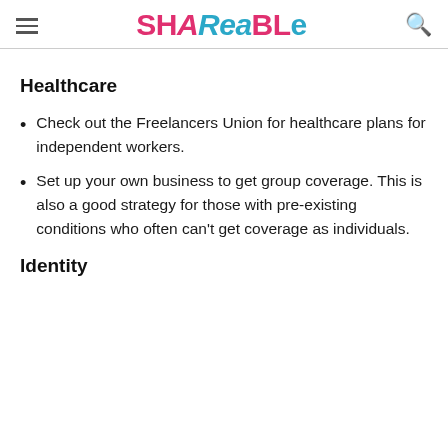SHAREABLE
Healthcare
Check out the Freelancers Union for healthcare plans for independent workers.
Set up your own business to get group coverage. This is also a good strategy for those with pre-existing conditions who often can't get coverage as individuals.
Identity